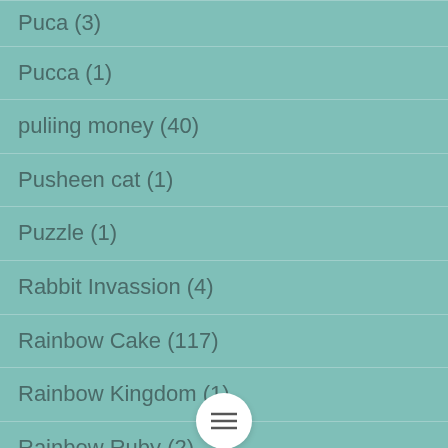Puca (3)
Pucca (1)
puliing money (40)
Pusheen cat (1)
Puzzle (1)
Rabbit Invassion (4)
Rainbow Cake (117)
Rainbow Kingdom (1)
Rainbow Ruby (2)